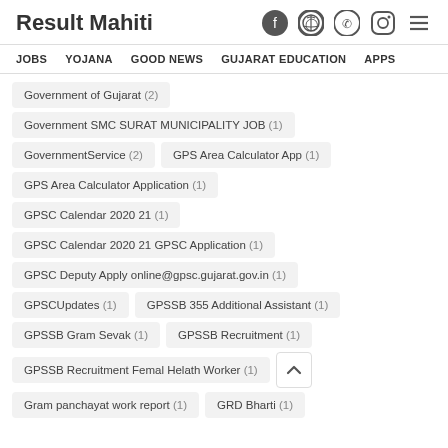Result Mahiti
JOBS
YOJANA
GOOD NEWS
GUJARAT EDUCATION
APPS
Government of Gujarat (2)
Government SMC SURAT MUNICIPALITY JOB (1)
GovernmentService (2)
GPS Area Calculator App (1)
GPS Area Calculator Application (1)
GPSC Calendar 2020 21 (1)
GPSC Calendar 2020 21 GPSC Application (1)
GPSC Deputy Apply online@gpsc.gujarat.gov.in (1)
GPSCUpdates (1)
GPSSB 355 Additional Assistant (1)
GPSSB Gram Sevak (1)
GPSSB Recruitment (1)
GPSSB Recruitment Femal Helath Worker (1)
Gram panchayat work report (1)
GRD Bharti (1)